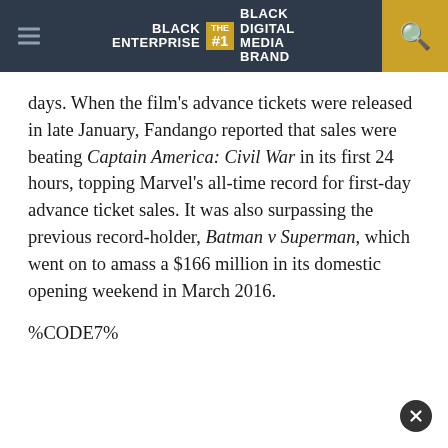BLACK ENTERPRISE THE #1 BLACK DIGITAL MEDIA BRAND
days. When the film's advance tickets were released in late January, Fandango reported that sales were beating Captain America: Civil War in its first 24 hours, topping Marvel's all-time record for first-day advance ticket sales. It was also surpassing the previous record-holder, Batman v Superman, which went on to amass a $166 million in its domestic opening weekend in March 2016.
%CODE7%